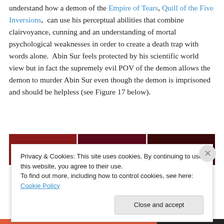understand how a demon of the Empire of Tears, Quill of the Five Inversions, can use his perceptual abilities that combine clairvoyance, cunning and an understanding of mortal psychological weaknesses in order to create a death trap with words alone. Abin Sur feels protected by his scientific world view but in fact the supremely evil POV of the demon allows the demon to murder Abin Sur even though the demon is imprisoned and should be helpless (see Figure 17 below).
[Figure (photo): Strip of three dark comic book panels showing scenes with colored title bars]
Privacy & Cookies: This site uses cookies. By continuing to use this website, you agree to their use.
To find out more, including how to control cookies, see here: Cookie Policy